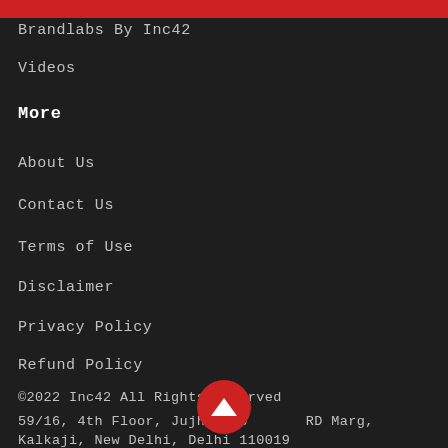Brandlabs By Inc42
Videos
More
About Us
Contact Us
Terms of Use
Disclaimer
Privacy Policy
Refund Policy
©2022 Inc42 All Rights Reserved
59/16, 4th Floor, Jujhar Tower, RD Marg, Kalkaji, New Delhi, Delhi 110019